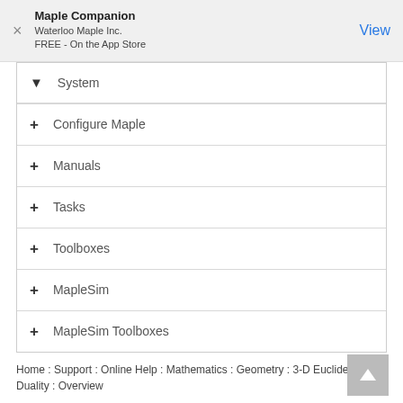Maple Companion
Waterloo Maple Inc.
FREE - On the App Store
System
Configure Maple
Manuals
Tasks
Toolboxes
MapleSim
MapleSim Toolboxes
Home : Support : Online Help : Mathematics : Geometry : 3-D Euclidean : Duality : Overview